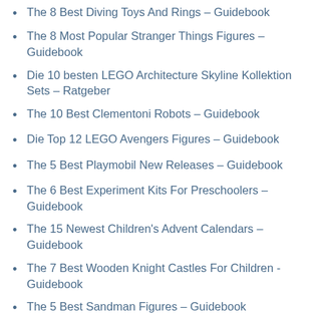The 8 Best Diving Toys And Rings – Guidebook
The 8 Most Popular Stranger Things Figures – Guidebook
Die 10 besten LEGO Architecture Skyline Kollektion Sets – Ratgeber
The 10 Best Clementoni Robots – Guidebook
Die Top 12 LEGO Avengers Figures – Guidebook
The 5 Best Playmobil New Releases – Guidebook
The 6 Best Experiment Kits For Preschoolers – Guidebook
The 15 Newest Children's Advent Calendars – Guidebook
The 7 Best Wooden Knight Castles For Children -Guidebook
The 5 Best Sandman Figures – Guidebook
The 10 Best Ladder Golf Sets – Guidebook
The 8 Best Games For 10 Years Old – Guidebook